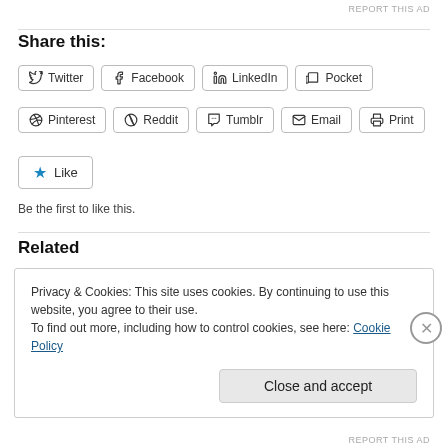REPORT THIS AD
Share this:
Twitter
Facebook
LinkedIn
Pocket
Pinterest
Reddit
Tumblr
Email
Print
Like
Be the first to like this.
Related
Privacy & Cookies: This site uses cookies. By continuing to use this website, you agree to their use. To find out more, including how to control cookies, see here: Cookie Policy
Close and accept
REPORT THIS AD